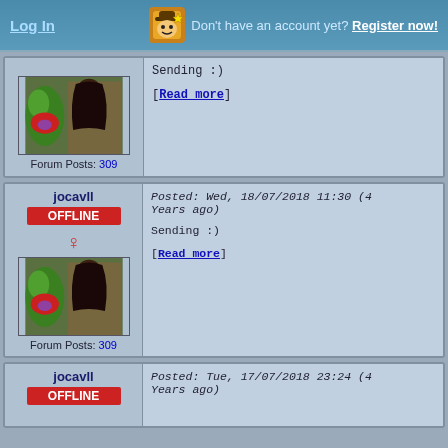Log In   Don't have an account yet? Register now!
Sending :)
[Read more]
Forum Posts: 309
jocavll
OFFLINE
Posted: Wed, 18/07/2018 11:30 (4 Years ago)
Sending :)
[Read more]
Forum Posts: 309
jocavll
OFFLINE
Posted: Tue, 17/07/2018 23:24 (4 Years ago)